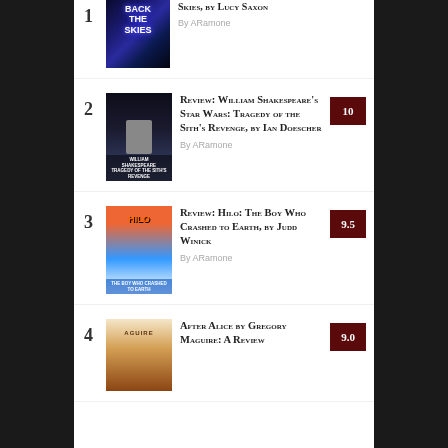1. Review: Back the Skies, by Lucy Saxon — By ARamone
2. Review: William Shakespeare's Star Wars: Tragedy of the Sith's Revenge, by Ian Doescher — By ARamone — Score: 10
3. Review: Hilo: The Boy Who Crashed to Earth, by Judd Winick — By ARamone — Score: 9.5
4. After Alice by Gregory Maguire: A Review — Score: 9.0